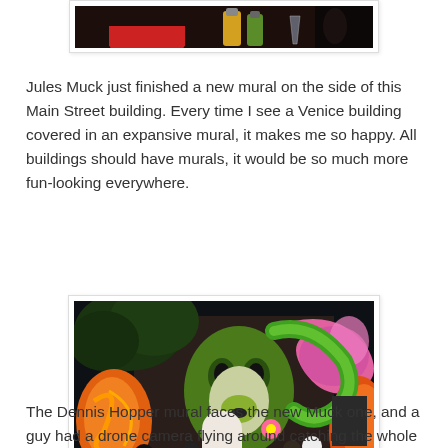[Figure (photo): Top portion of a photo showing a dark table with bottles and glasses, partially cropped at top of page]
Jules Muck just finished a new mural on the side of this Main Street building. Every time I see a Venice building covered in an expansive mural, it makes me so happy. All buildings should have murals, it would be so much more fun-looking everywhere.
[Figure (photo): Photo of a colorful mural on the side of a building at night, featuring a large green dog/animal face, orange and green swirling designs, surrounded by trees, with people standing in front of it]
The Dennis Hopper mural faces the new Muck one, and a guy had a drone camera flying around catching the whole